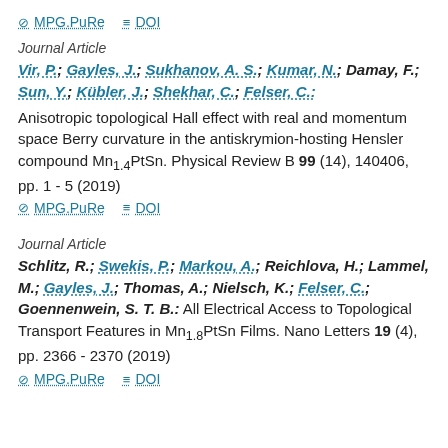MPG.PuRe  DOI
Journal Article
Vir, P.; Gayles, J.; Sukhanov, A. S.; Kumar, N.; Damay, F.; Sun, Y.; Kübler, J.; Shekhar, C.; Felser, C.:
Anisotropic topological Hall effect with real and momentum space Berry curvature in the antiskrymion-hosting Hensler compound Mn1.4PtSn. Physical Review B 99 (14), 140406, pp. 1 - 5 (2019)
MPG.PuRe  DOI
Journal Article
Schlitz, R.; Swekis, P.; Markou, A.; Reichlova, H.; Lammel, M.; Gayles, J.; Thomas, A.; Nielsch, K.; Felser, C.; Goennenwein, S. T. B.: All Electrical Access to Topological Transport Features in Mn1.8PtSn Films. Nano Letters 19 (4), pp. 2366 - 2370 (2019)
MPG.PuRe  DOI